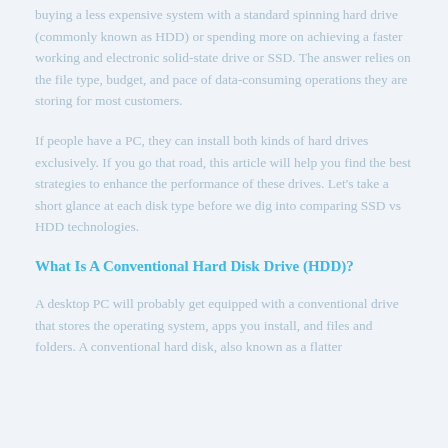buying a less expensive system with a standard spinning hard drive (commonly known as HDD) or spending more on achieving a faster working and electronic solid-state drive or SSD. The answer relies on the file type, budget, and pace of data-consuming operations they are storing for most customers.
If people have a PC, they can install both kinds of hard drives exclusively. If you go that road, this article will help you find the best strategies to enhance the performance of these drives. Let's take a short glance at each disk type before we dig into comparing SSD vs HDD technologies.
What Is A Conventional Hard Disk Drive (HDD)?
A desktop PC will probably get equipped with a conventional drive that stores the operating system, apps you install, and files and folders. A conventional hard disk, also known as a flatter